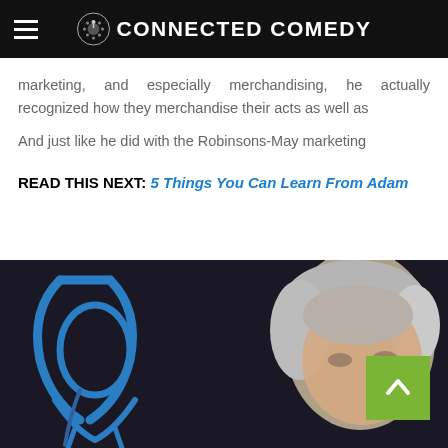CONNECTED COMEDY
marketing, and especially merchandising, he actually recognized how they merchandise their acts as well as
And just like he did with the Robinsons-May marketing
READ THIS NEXT: 5 Things You Can Learn From Adam
[Figure (photo): Photo of a person with grey/silver hair against a dark background, with blue artistic lettering/graffiti visible on the left side. A green back-to-top arrow button overlays the lower right area of the image.]